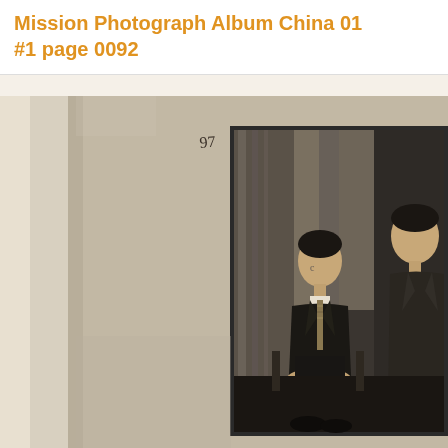Mission Photograph Album  China 01 #1 page 0092
[Figure (photo): Scanned page from a mission photograph album showing an old black-and-white portrait photograph mounted on a album page. The photograph shows two Asian men in formal suits, one seated and one standing, posed in a studio setting with a decorative backdrop. A handwritten number '97' appears at the top of the album page. The album page itself has a beige/grey tone and shows the photograph mounted in the lower right portion.]